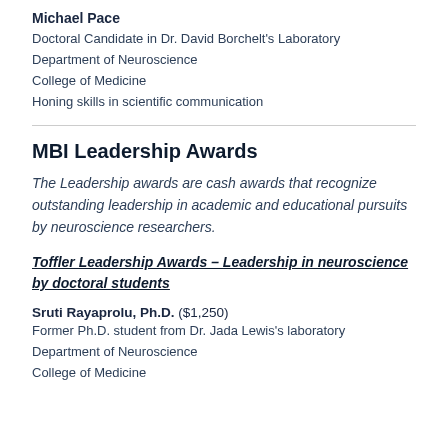Michael Pace
Doctoral Candidate in Dr. David Borchelt's Laboratory
Department of Neuroscience
College of Medicine
Honing skills in scientific communication
MBI Leadership Awards
The Leadership awards are cash awards that recognize outstanding leadership in academic and educational pursuits by neuroscience researchers.
Toffler Leadership Awards – Leadership in neuroscience by doctoral students
Sruti Rayaprolu, Ph.D. ($1,250)
Former Ph.D. student from Dr. Jada Lewis's laboratory
Department of Neuroscience
College of Medicine